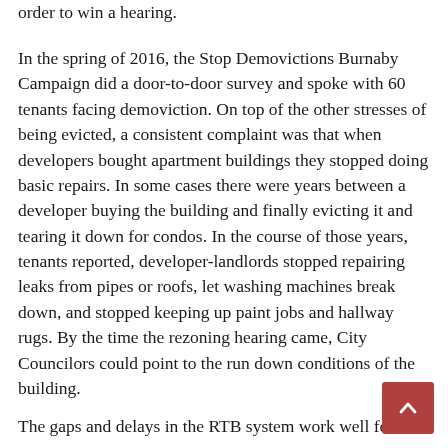order to win a hearing.
In the spring of 2016, the Stop Demovictions Burnaby Campaign did a door-to-door survey and spoke with 60 tenants facing demoviction. On top of the other stresses of being evicted, a consistent complaint was that when developers bought apartment buildings they stopped doing basic repairs. In some cases there were years between a developer buying the building and finally evicting it and tearing it down for condos. In the course of those years, tenants reported, developer-landlords stopped repairing leaks from pipes or roofs, let washing machines break down, and stopped keeping up paint jobs and hallway rugs. By the time the rezoning hearing came, City Councilors could point to the run down conditions of the building.
The gaps and delays in the RTB system work well for